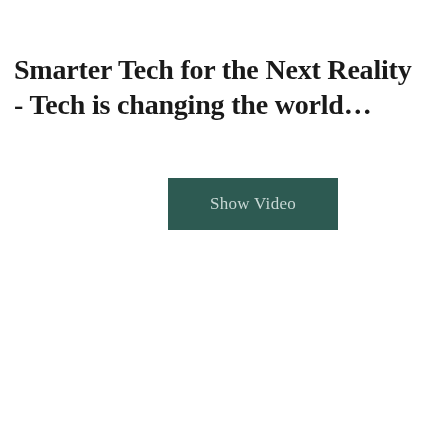Smarter Tech for the Next Reality - Tech is changing the world…
[Figure (other): A dark teal rectangular button labeled 'Show Video']